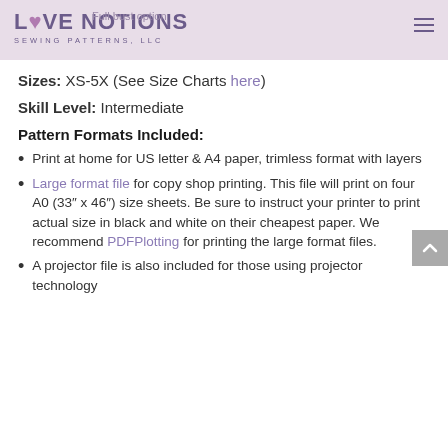Love Notions Sewing Patterns, LLC — Full bust option
Sizes: XS-5X (See Size Charts here)
Skill Level: Intermediate
Pattern Formats Included:
Print at home for US letter & A4 paper, trimless format with layers
Large format file for copy shop printing. This file will print on four A0 (33″ x 46″) size sheets. Be sure to instruct your printer to print actual size in black and white on their cheapest paper. We recommend PDFPlotting for printing the large format files.
A projector file is also included for those using projector technology